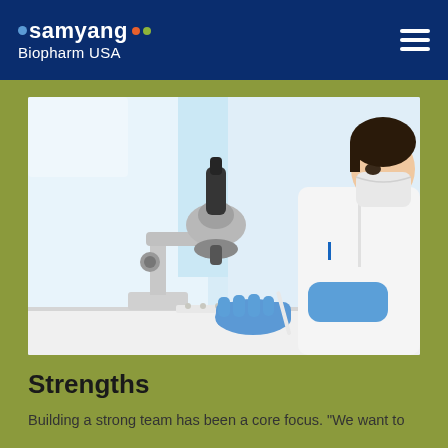samyang Biopharm USA
[Figure (photo): A scientist in a white lab coat and blue gloves looking through a microscope in a laboratory setting]
Strengths
Building a strong team has been a core focus. "We want to